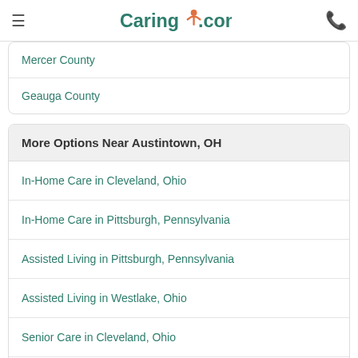Caring.com
Mercer County
Geauga County
More Options Near Austintown, OH
In-Home Care in Cleveland, Ohio
In-Home Care in Pittsburgh, Pennsylvania
Assisted Living in Pittsburgh, Pennsylvania
Assisted Living in Westlake, Ohio
Senior Care in Cleveland, Ohio
Senior Living in Pittsburgh, Pennsylvania